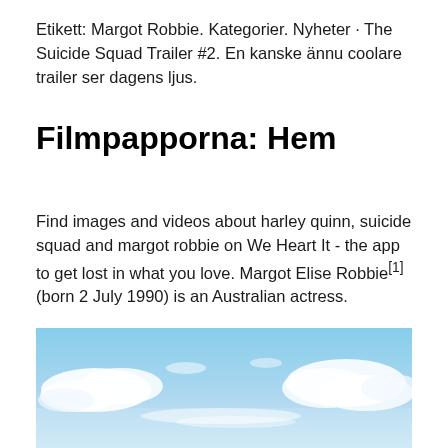Etikett: Margot Robbie. Kategorier. Nyheter · The Suicide Squad Trailer #2. En kanske ännu coolare trailer ser dagens ljus.
Filmpapporna: Hem
Find images and videos about harley quinn, suicide squad and margot robbie on We Heart It - the app to get lost in what you love. Margot Elise Robbie[1] (born 2 July 1990) is an Australian actress.
[Figure (photo): Sky with clouds, light blue sky with white clouds, partial view cut off at bottom of page]